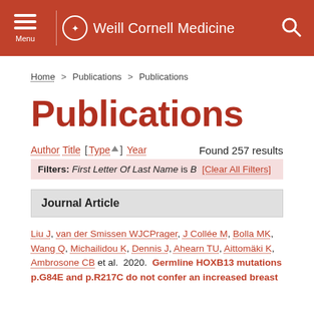Weill Cornell Medicine
Home > Publications > Publications
Publications
Author Title [ Type ] Year   Found 257 results
Filters: First Letter Of Last Name is B  [Clear All Filters]
Journal Article
Liu J, van der Smissen WJCPrager, J Collée M, Bolla MK, Wang Q, Michailidou K, Dennis J, Ahearn TU, Aittomäki K, Ambrosone CB et al.  2020.  Germline HOXB13 mutations p.G84E and p.R217C do not confer an increased breast